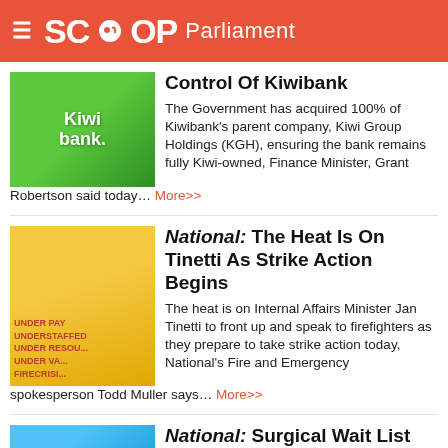SCOOP Parliament
Control Of Kiwibank
The Government has acquired 100% of Kiwibank's parent company, Kiwi Group Holdings (KGH), ensuring the bank remains fully Kiwi-owned, Finance Minister, Grant Robertson said today... More>>
National: The Heat Is On Tinetti As Strike Action Begins
The heat is on Internal Affairs Minister Jan Tinetti to front up and speak to firefighters as they prepare to take strike action today, National's Fire and Emergency spokesperson Todd Muller says... More>>
National: Surgical Wait List Hits New Record
A new record has been set for New Zealanders waiting more than four months for surgery, National's Health spokesperson